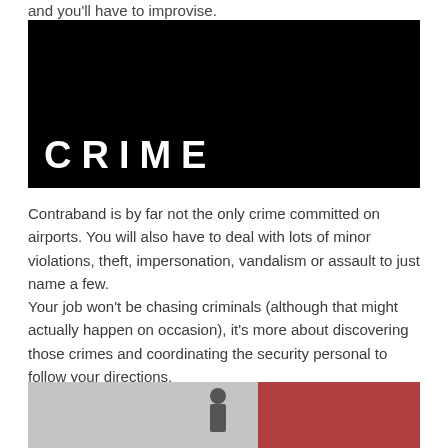and you'll have to improvise.
[Figure (screenshot): Dark/black image with the word CRIME in large white bold letters at the bottom left]
Contraband is by far not the only crime committed on airports. You will also have to deal with lots of minor violations, theft, impersonation, vandalism or assault to just name a few.
Your job won't be chasing criminals (although that might actually happen on occasion), it's more about discovering those crimes and coordinating the security personal to follow your directions.
[Figure (screenshot): Screenshot from a video game showing an airport security or surveillance scene with characters and equipment]